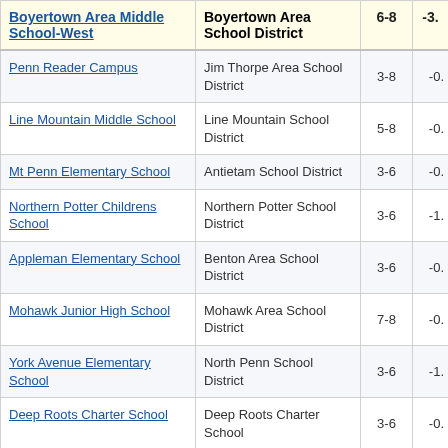| School | District | Grades | Score |
| --- | --- | --- | --- |
| Boyertown Area Middle School-West | Boyertown Area School District | 6-8 | -3. |
| Penn Reader Campus | Jim Thorpe Area School District | 3-8 | -0. |
| Line Mountain Middle School | Line Mountain School District | 5-8 | -0. |
| Mt Penn Elementary School | Antietam School District | 3-6 | -0. |
| Northern Potter Childrens School | Northern Potter School District | 3-6 | -1. |
| Appleman Elementary School | Benton Area School District | 3-6 | -0. |
| Mohawk Junior High School | Mohawk Area School District | 7-8 | -0. |
| York Avenue Elementary School | North Penn School District | 3-6 | -1. |
| Deep Roots Charter School | Deep Roots Charter School | 3-6 | -0. |